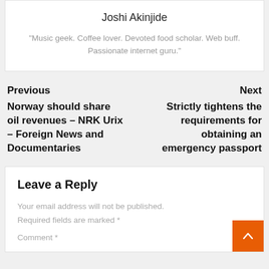Joshi Akinjide
"Music geek. Coffee lover. Devoted food scholar. Web buff. Passionate internet guru."
Previous
Norway should share oil revenues – NRK Urix – Foreign News and Documentaries
Next
Strictly tightens the requirements for obtaining an emergency passport
Leave a Reply
Your email address will not be published. Required fields are marked *
Comment *